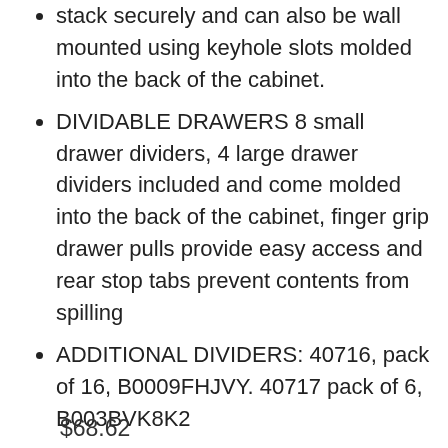stack securely and can also be wall mounted using keyhole slots molded into the back of the cabinet.
DIVIDABLE DRAWERS 8 small drawer dividers, 4 large drawer dividers included and come molded into the back of the cabinet, finger grip drawer pulls provide easy access and rear stop tabs prevent contents from spilling
ADDITIONAL DIVIDERS: 40716, pack of 16, B0009FHJVY. 40717 pack of 6, B003BVK8K2
$68.62